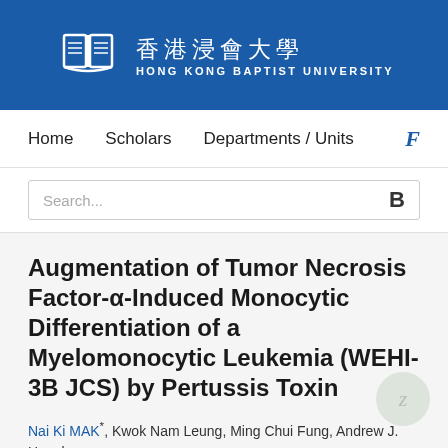[Figure (logo): Hong Kong Baptist University logo with book icon and Chinese/English text on blue banner]
Home   Scholars   Departments / Units   F
Search...
Augmentation of Tumor Necrosis Factor-α-Induced Monocytic Differentiation of a Myelomonocytic Leukemia (WEHI-3B JCS) by Pertussis Toxin
Nai Ki MAK*, Kwok Nam Leung, Ming Chui Fung, Andrew J. Hapel